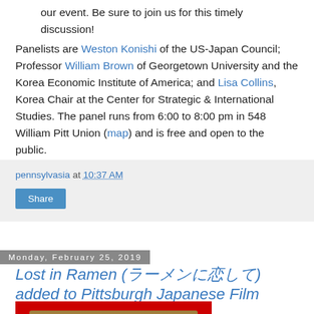our event. Be sure to join us for this timely discussion!
Panelists are Weston Konishi of the US-Japan Council; Professor William Brown of Georgetown University and the Korea Economic Institute of America; and Lisa Collins, Korea Chair at the Center for Strategic & International Studies. The panel runs from 6:00 to 8:00 pm in 548 William Pitt Union (map) and is free and open to the public.
pennsylvasia at 10:37 AM
Share
Monday, February 25, 2019
Lost in Ramen (ラーメンに恋して) added to Pittsburgh Japanese Film Festival.
[Figure (photo): Partially visible image of a ramen dish on a red background]